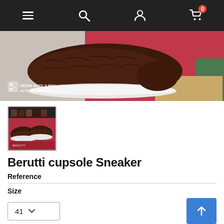Navigation bar with menu, search, account, and cart icons (cart shows 0 items)
[Figure (photo): Close-up photo of a dark brown croc-textured loafer/sneaker on a red box, with Redmi Note 9 Pro AI Dual Camera watermark in bottom-left]
[Figure (photo): Thumbnail photo of a pair of dark brown croc-textured loafers displayed on a red surface]
Berutti cupsole Sneaker
Reference
Size
41
Color